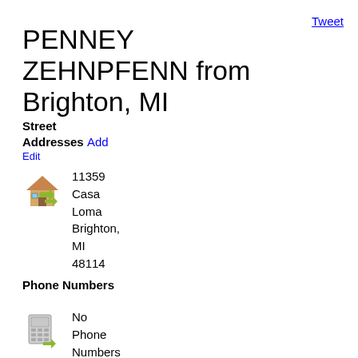PENNEY ZEHNPFENN from Brighton, MI
Tweet
Street Addresses
Add Edit
11359 Casa Loma Brighton, MI 48114
Phone Numbers
No Phone Numbers Found